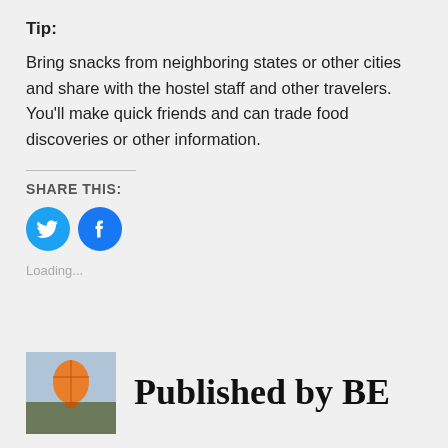Tip:
Bring snacks from neighboring states or other cities and share with the hostel staff and other travelers. You'll make quick friends and can trade food discoveries or other information.
SHARE THIS:
[Figure (infographic): Social share buttons: Twitter (blue bird icon) and Facebook (blue f icon)]
Loading...
Published by BE